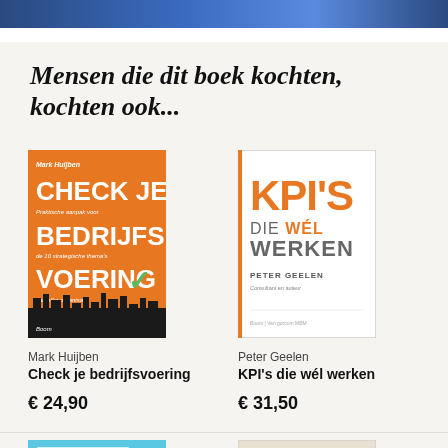Mensen die dit boek kochten, kochten ook...
[Figure (photo): Book cover: Check je bedrijfsvoering by Mark Huijben, orange cover with white bold text]
Mark Huijben
Check je bedrijfsvoering
€ 24,90
[Figure (photo): Book cover: KPI's die wél werken by Peter Geelen, white cover with orange and grey text]
Peter Geelen
KPI's die wél werken
€ 31,50
[Figure (photo): Book cover partial: Theo van Iperen, light blue cover]
[Figure (photo): Book cover partial: Amy C. Edmondson, beige/cream cover]